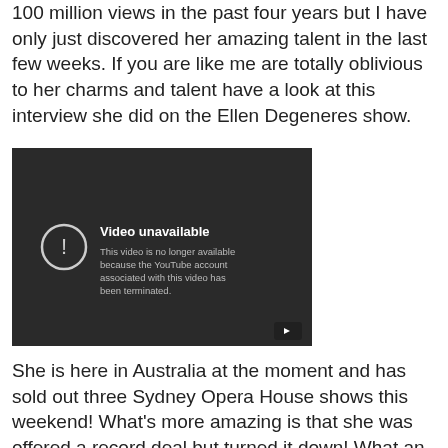100 million views in the past four years but I have only just discovered her amazing talent in the last few weeks. If you are like me are totally oblivious to her charms and talent have a look at this interview she did on the Ellen Degeneres show.
[Figure (screenshot): Embedded YouTube video showing 'Video unavailable' message: 'This video is no longer available because the YouTube account associated with this video has been terminated.' with a YouTube play button icon in the bottom right.]
She is here in Australia at the moment and has sold out three Sydney Opera House shows this weekend! What's more amazing is that she was offered a record deal but turned it down! What an incredible young woman!